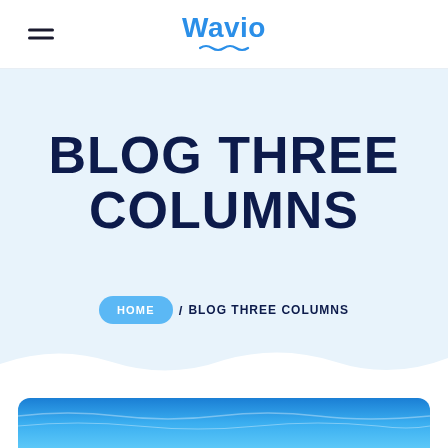Wavio
BLOG THREE COLUMNS
HOME / BLOG THREE COLUMNS
[Figure (photo): Blue water/ocean photo at bottom of page, partially visible]